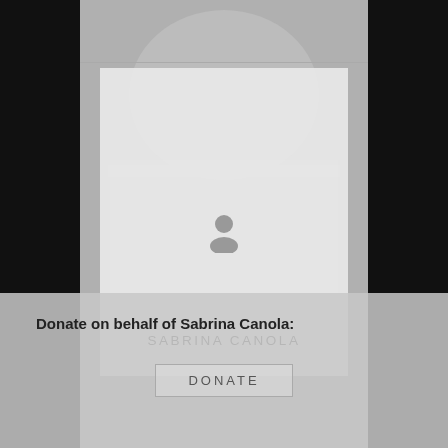[Figure (illustration): Faded grayscale illustration of a government/institutional building in the background with high contrast black and white areas on the sides]
SABRINA CANOLA
Donate on behalf of Sabrina Canola:
DONATE